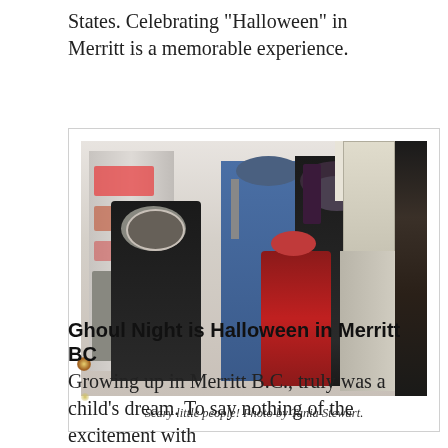States. Celebrating “Halloween” in Merritt is a memorable experience.
[Figure (photo): Group of children and teenagers in Halloween costumes standing in a kitchen. One is dressed as a skeleton/grim reaper in black with a red hat, one in a blue shirt with a cap and tie, one young girl in a red and black costume, and one teenager in black with purple hair highlights.]
Scary little people! Photo by Tania Stewart.
Ghoul Night is Halloween in Merritt BC
Growing up in Merritt B.C., truly was a child’s dream. To say nothing of the excitement with